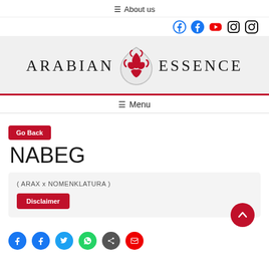≡ About us
[Figure (logo): Arabian Essence logo with decorative red arabesque emblem between the two words]
≡ Menu
Go Back
NABEG
( ARAX x NOMENKLATURA )
Disclaimer
[Figure (infographic): Row of colored social share buttons at the bottom]